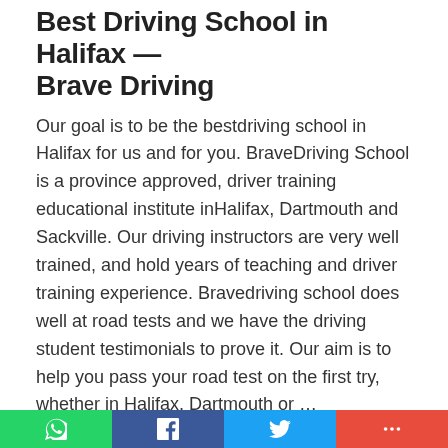Best Driving School in Halifax — Brave Driving
Our goal is to be the bestdriving school in Halifax for us and for you. BraveDriving School is a province approved, driver training educational institute inHalifax, Dartmouth and Sackville. Our driving instructors are very well trained, and hold years of teaching and driver training experience. Bravedriving school does well at road tests and we have the driving student testimonials to prove it. Our aim is to help you pass your road test on the first try, whether in Halifax, Dartmouth or …
[Continue..]
bravedriving.com
Young Drivers Halifax Driving School - YD...